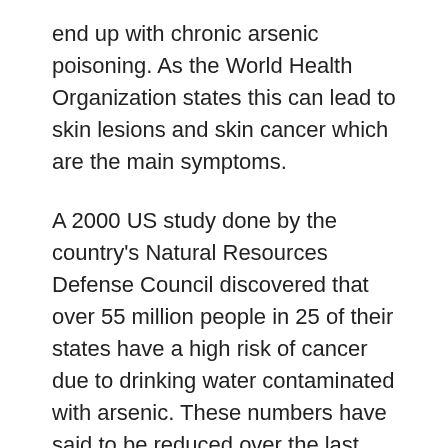end up with chronic arsenic poisoning. As the World Health Organization states this can lead to skin lesions and skin cancer which are the main symptoms.
A 2000 US study done by the country's Natural Resources Defense Council discovered that over 55 million people in 25 of their states have a high risk of cancer due to drinking water contaminated with arsenic. These numbers have said to be reduced over the last few years due to their Environmental protection agency changing the regulations regarding arsenic control, but they are still concerned about the arsenic levels prevalent today.